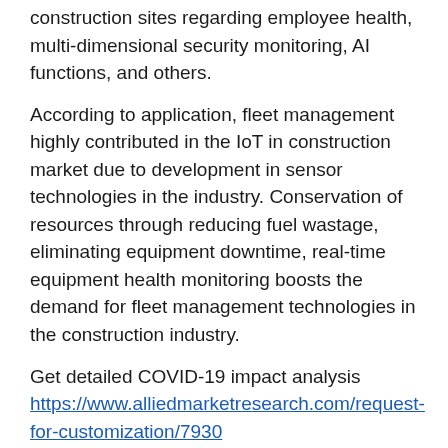construction sites regarding employee health, multi-dimensional security monitoring, AI functions, and others.
According to application, fleet management highly contributed in the IoT in construction market due to development in sensor technologies in the industry. Conservation of resources through reducing fuel wastage, eliminating equipment downtime, real-time equipment health monitoring boosts the demand for fleet management technologies in the construction industry.
Get detailed COVID-19 impact analysis https://www.alliedmarketresearch.com/request-for-customization/7930